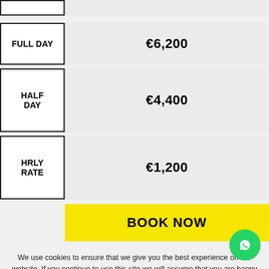| Rate Type | Price |
| --- | --- |
| FULL DAY | €6,200 |
| HALF DAY | €4,400 |
| HRLY RATE | €1,200 |
BOOK NOW
We use cookies to ensure that we give you the best experience on our website. If you continue to use this site we will assume that you are happy with it.
Ok  No